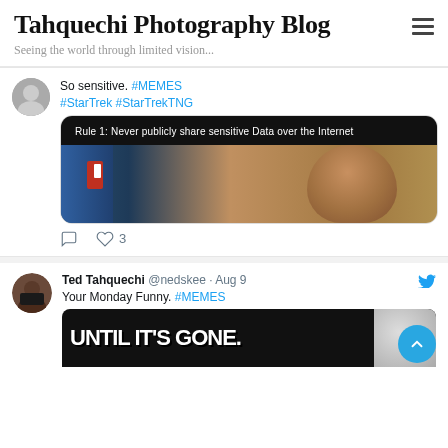Tahquechi Photography Blog
Seeing the world through limited vision...
So sensitive. #MEMES #StarTrek #StarTrekTNG
[Figure (photo): Meme image with text 'Rule 1: Never publicly share sensitive Data over the Internet' on black background above a photo of a person's face from Star Trek TNG]
3
Ted Tahquechi @nedskee · Aug 9
Your Monday Funny. #MEMES
[Figure (photo): Meme image with large text 'UNTIL IT'S GONE.' in white on black background]